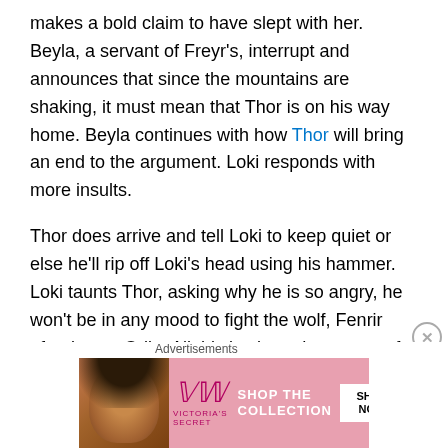makes a bold claim to have slept with her. Beyla, a servant of Freyr's, interrupt and announces that since the mountains are shaking, it must mean that Thor is on his way home. Beyla continues with how Thor will bring an end to the argument. Loki responds with more insults.
Thor does arrive and tell Loki to keep quiet or else he'll rip off Loki's head using his hammer. Loki taunts Thor, asking why he is so angry, he won't be in any mood to fight the wolf, Fenrir after it eats Odin. All this is about the events of Ragnarök that have been foretold. Thor again tells Loki to keep quiet with a threat to throw the trickster god so far into the sky he would never come back down.
Advertisements
[Figure (other): Victoria's Secret advertisement banner showing a woman model on the left, the VS logo in the center, and text 'SHOP THE COLLECTION' with a 'SHOP NOW' button on the right, on a pink background.]